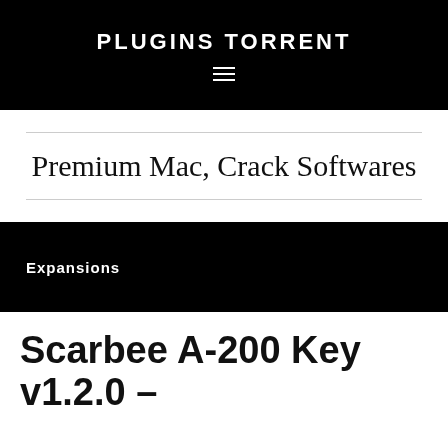PLUGINS TORRENT
Premium Mac, Crack Softwares
Expansions
Scarbee A-200 Key v1.2.0 –